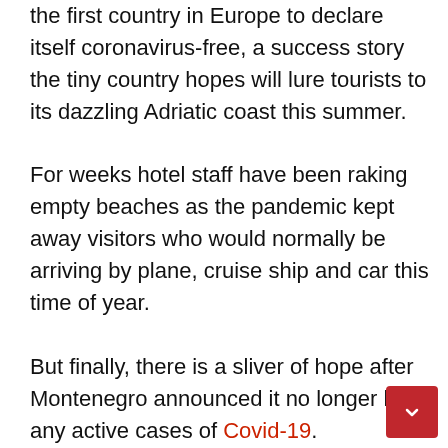the first country in Europe to declare itself coronavirus-free, a success story the tiny country hopes will lure tourists to its dazzling Adriatic coast this summer. For weeks hotel staff have been raking empty beaches as the pandemic kept away visitors who would normally be arriving by plane, cruise ship and car this time of year. But finally, there is a sliver of hope after Montenegro announced it no longer has any active cases of Covid-19. Tourism operators have already seized the opportunity to brand Montenegro as “Europe’s First Covid-19 Free Country” in videos promoting its stunning natural beauty, with beaches snaking along the south and rugged mountains in the north.